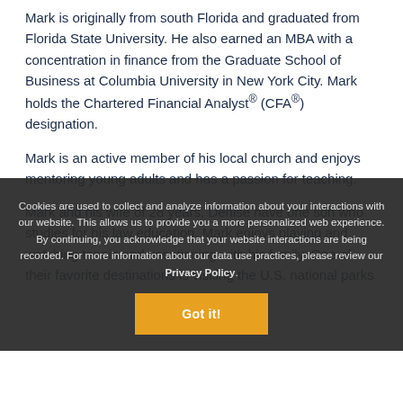Mark is originally from south Florida and graduated from Florida State University. He also earned an MBA with a concentration in finance from the Graduate School of Business at Columbia University in New York City. Mark holds the Chartered Financial Analyst® (CFA®) designation.
Mark is an active member of his local church and enjoys mentoring young adults and has a passion for teaching.
Mark and his wife of 28 years, Denise have one son who is studying for his law education. Mark enjoys playing and watching tennis and vacationing with his family. One of their favorite destinations is visiting the U.S. national parks
Cookies are used to collect and analyze information about your interactions with our website. This allows us to provide you a more personalized web experience. By continuing, you acknowledge that your website interactions are being recorded. For more information about our data use practices, please review our Privacy Policy.